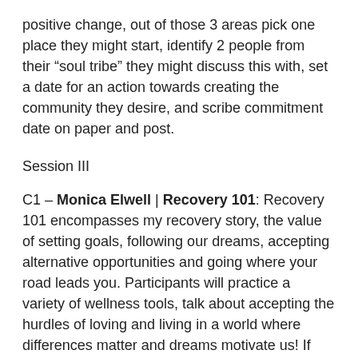positive change, out of those 3 areas pick one place they might start, identify 2 people from their “soul tribe” they might discuss this with, set a date for an action towards creating the community they desire, and scribe commitment date on paper and post.
Session III
C1 – Monica Elwell | Recovery 101: Recovery 101 encompasses my recovery story, the value of setting goals, following our dreams, accepting alternative opportunities and going where your road leads you. Participants will practice a variety of wellness tools, talk about accepting the hurdles of loving and living in a world where differences matter and dreams motivate us! If you want to learn a little about my journey, experience some of the opportunities I have been blessed with, ask questions about getting involved yourself, learn some new wellness tools, and walk with me through some of the joys and struggles of being a consumer and a provider in Maine